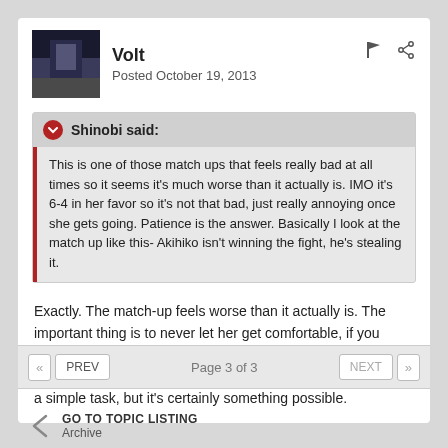Volt
Posted October 19, 2013
Shinobi said:
This is one of those match ups that feels really bad at all times so it seems it's much worse than it actually is. IMO it's 6-4 in her favor so it's not that bad, just really annoying once she gets going. Patience is the answer. Basically I look at the match up like this- Akihiko isn't winning the fight, he's stealing it.
Exactly. The match-up feels worse than it actually is. The important thing is to never let her get comfortable, if you manage to be a constant threat you make her do mistakes and then you punish her for being a human. Of course it's not a simple task, but it's certainly something possible.
Page 3 of 3
GO TO TOPIC LISTING
Archive